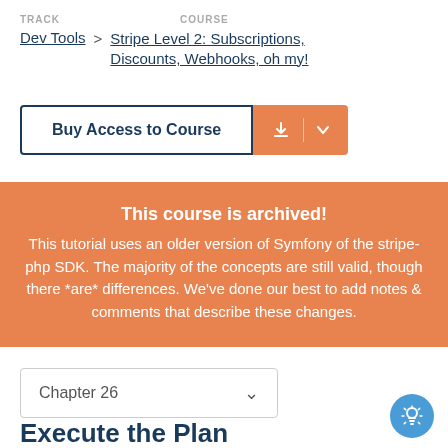TRACK | Dev Tools  >  COURSE | Stripe Level 2: Subscriptions, Discounts, Webhooks, oh my!
Buy Access to Course
This course is archived!
This tutorial uses an older version of Symfony of the stripe-php SDK. The majority of the concepts are still valid, though there *are* differences. We've done our best to add notes & comments that describe these changes.
Chapter 26
Execute the Plan